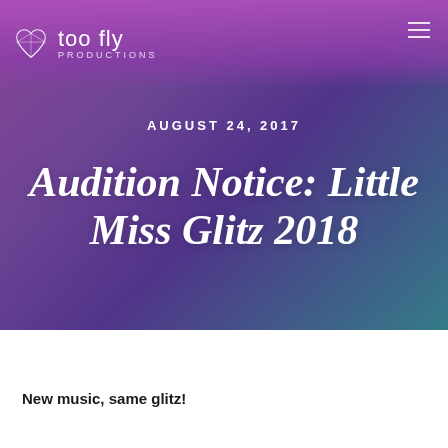too fly PRODUCTIONS
[Figure (photo): Hero banner image showing pageant scene with people on stage, overlaid with purple-to-teal gradient. Contains date label AUGUST 24, 2017 and italic bold title Audition Notice: Little Miss Glitz 2018 in white text.]
New music, same glitz!